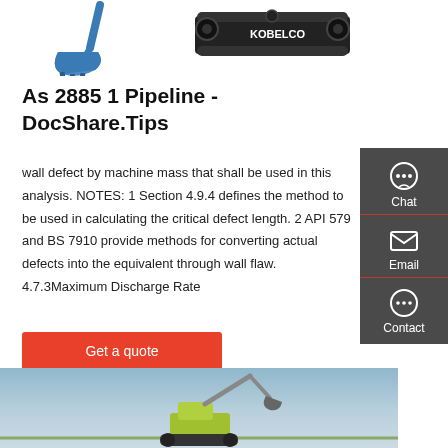[Figure (photo): Excavator bucket attachment image (top-left) and tracked undercarriage unit (top-right), product photos on white background]
As 2885 1 Pipeline - DocShare.Tips
wall defect by machine mass that shall be used in this analysis. NOTES: 1 Section 4.9.4 defines the method to be used in calculating the critical defect length. 2 API 579 and BS 7910 provide methods for converting actual defects into the equivalent through wall flaw. 4.7.3Maximum Discharge Rate
[Figure (photo): Construction machinery (excavator/crane) against a blue sky background, bottom portion of page]
[Figure (infographic): Side panel with Chat, Email, and Contact buttons on dark grey background]